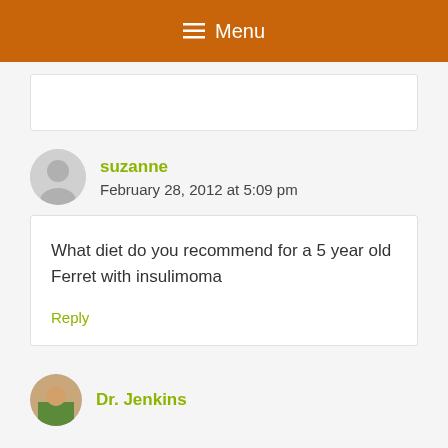Menu
suzanne
February 28, 2012 at 5:09 pm
What diet do you recommend for a 5 year old Ferret with insulimoma
Reply
Dr. Jenkins